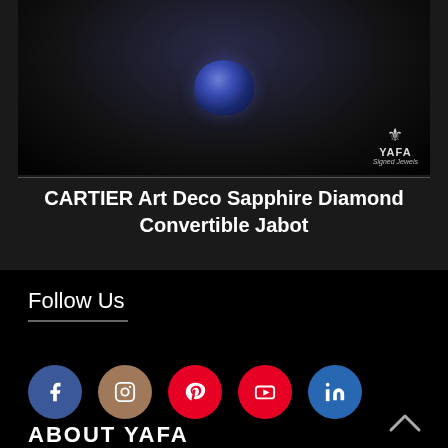[Figure (photo): Dark background jewelry product photo showing a sapphire and diamond brooch/jabot piece with YAFA Signed Jewels logo in bottom right corner]
CARTIER Art Deco Sapphire Diamond Convertible Jabot
Follow Us
[Figure (infographic): Social media icons row: Facebook (blue circle), Instagram (tan/brown circle), Pinterest (red circle), YouTube (red circle), LinkedIn (blue circle)]
ABOUT YAFA